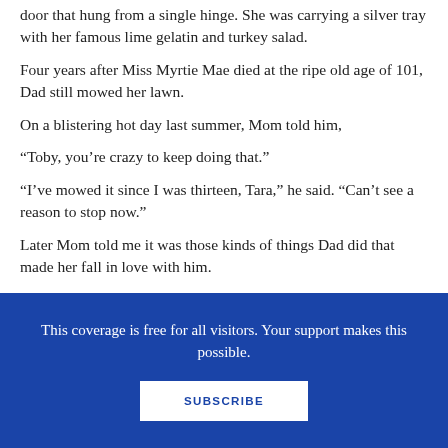door that hung from a single hinge. She was carrying a silver tray with her famous lime gelatin and turkey salad.
Four years after Miss Myrtie Mae died at the ripe old age of 101, Dad still mowed her lawn.
On a blistering hot day last summer, Mom told him,
“Toby, you’re crazy to keep doing that.”
“I’ve mowed it since I was thirteen, Tara,” he said. “Can’t see a reason to stop now.”
Later Mom told me it was those kinds of things Dad did that made her fall in love with him.
After last winter’s snowstorm, icicles clung to Miss
This coverage is free for all visitors. Your support makes this possible.
SUBSCRIBE